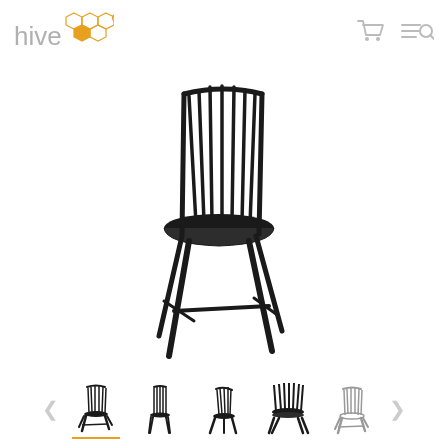[Figure (logo): Hive logo with honeycomb hexagon icon in orange/gold and word 'hive' in gray]
[Figure (other): Navigation icons: shopping cart and menu/search icons in gray]
[Figure (photo): Large product photo of a black Scandinavian-style high-back spindle lounge chair (Mademoiselle chair by Ilmari Tapiovaara) with splayed legs, on white background]
[Figure (photo): Thumbnail 1 (active/selected): black spindle lounge chair, front angle — with orange underline indicator]
[Figure (photo): Thumbnail 2: black spindle chair, straight front view]
[Figure (photo): Thumbnail 3: black spindle chair, side/angled view]
[Figure (photo): Thumbnail 4: close-up detail of the back spindles and seat]
[Figure (photo): Thumbnail 5: white/light version of the spindle lounge chair]